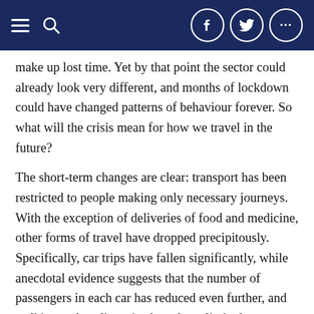Navigation bar with hamburger menu, search icon, Facebook, Twitter, and more icons
make up lost time. Yet by that point the sector could already look very different, and months of lockdown could have changed patterns of behaviour forever. So what will the crisis mean for how we travel in the future?
The short-term changes are clear: transport has been restricted to people making only necessary journeys. With the exception of deliveries of food and medicine, other forms of travel have dropped precipitously. Specifically, car trips have fallen significantly, while anecdotal evidence suggests that the number of passengers in each car has reduced even further, and walking and cycling trips have been limited.
Yet more dramatic has been the meltdown in public transport. Airlines have been to a settling...